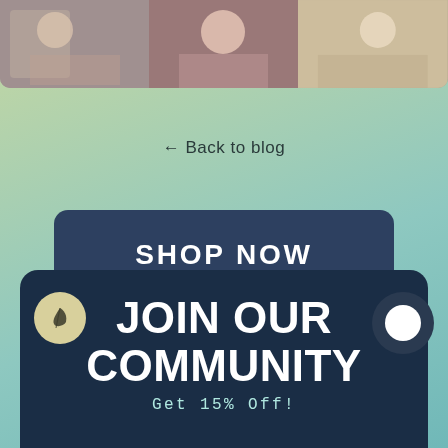[Figure (photo): Horizontal strip of three photos at the top of the page showing people/fashion images]
← Back to blog
SHOP NOW
JOIN OUR COMMUNITY
Get 15% Off!